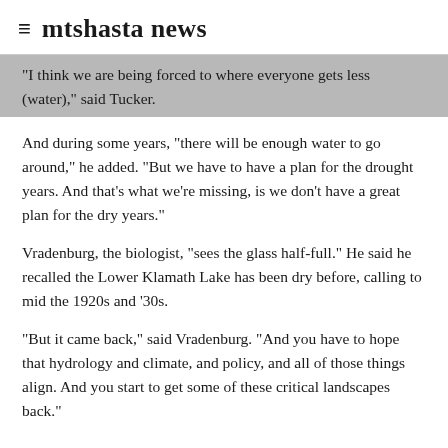≡ mtshasta news
“I think we are being forced to where everyone gets less (water),” said Tucker.
And during some years, “there will be enough water to go around,” he added. “But we have to have a plan for the drought years. And that’s what we’re missing, is we don’t have a great plan for the dry years.”
Vradenburg, the biologist, “sees the glass half-full.” He said he recalled the Lower Klamath Lake has been dry before, calling to mid the 1920s and ’30s.
“But it came back,” said Vradenburg. “And you have to hope that hydrology and climate, and policy, and all of those things align. And you start to get some of these critical landscapes back.”